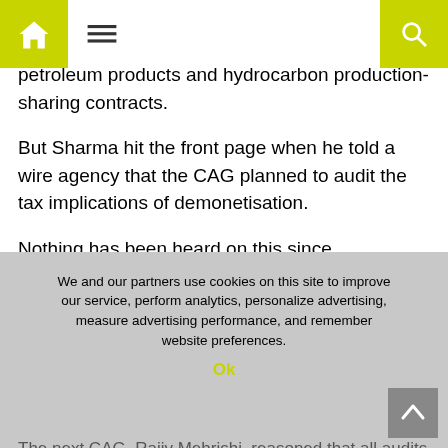Navigation bar with home, menu, and search icons
revenue share agreements of telecom service providers, and the pricing mechanism of major petroleum products and hydrocarbon production-sharing contracts.
But Sharma hit the front page when he told a wire agency that the CAG planned to audit the tax implications of demonetisation.
Nothing has been heard on this since.
The former CAG has also faced problems, unrelated to his term as CAG, from his term as defence secretary.
It is about Sharma’s role in India’s procurement of AgustaWestland helicopters under the United Progressive Alliance, in which middlemen were alleged performance
We and our partners use cookies on this site to improve our service, perform analytics, personalize advertising, measure advertising performance,  and remember website preferences.
Ok
The next CAG, Rajiv Mehrishi, reasoned that all audits of a department